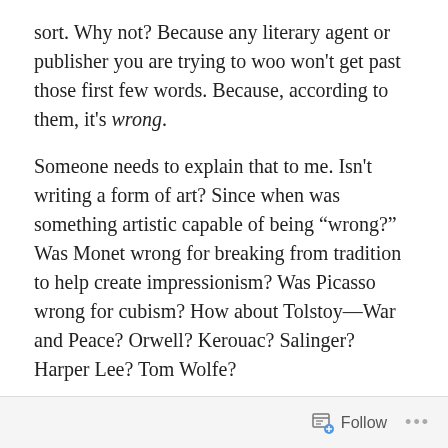sort. Why not? Because any literary agent or publisher you are trying to woo won't get past those first few words. Because, according to them, it's wrong.
Someone needs to explain that to me. Isn't writing a form of art? Since when was something artistic capable of being "wrong?" Was Monet wrong for breaking from tradition to help create impressionism? Was Picasso wrong for cubism? How about Tolstoy—War and Peace? Orwell? Kerouac? Salinger? Harper Lee? Tom Wolfe?
Art is like fashion: in today, out tomorrow. It is subject to the whims of society as it then exists. Van Gogh was hated in Arles and sold one painting during his life. Can you imagine if he listened to his critics and stopped painting
Follow ···